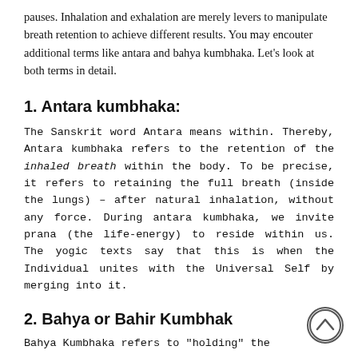pauses. Inhalation and exhalation are merely levers to manipulate breath retention to achieve different results. You may encouter additional terms like antara and bahya kumbhaka. Let's look at both terms in detail.
1. Antara kumbhaka:
The Sanskrit word Antara means within. Thereby, Antara kumbhaka refers to the retention of the inhaled breath within the body. To be precise, it refers to retaining the full breath (inside the lungs) – after natural inhalation, without any force. During antara kumbhaka, we invite prana (the life-energy) to reside within us. The yogic texts say that this is when the Individual unites with the Universal Self by merging into it.
2. Bahya or Bahir Kumbhaka
Bahya Kumbhaka refers to "holding" the